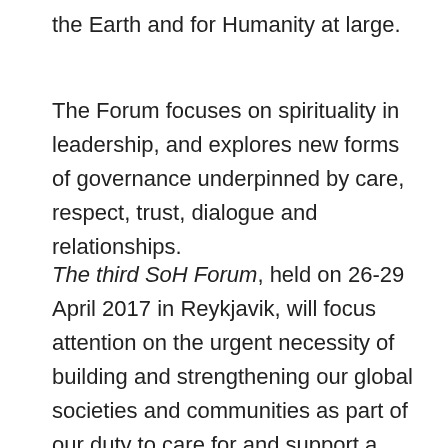the Earth and for Humanity at large.
The Forum focuses on spirituality in leadership, and explores new forms of governance underpinned by care, respect, trust, dialogue and relationships.
The third SoH Forum, held on 26-29 April 2017 in Reykjavik, will focus attention on the urgent necessity of building and strengthening our global societies and communities as part of our duty to care for and support a world in transition, including caring for ourselves, for each other and